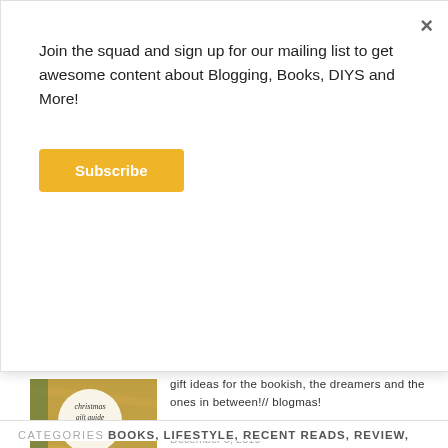Join the squad and sign up for our mailing list to get awesome content about Blogging, Books, DIYS and More!
Subscribe
[Figure (photo): Christmas gift guide 2019 image with decorative golden background and a circular white overlay with handwritten text reading 'christmas gift guide 2019']
gift ideas for the bookish, the dreamers and the ones in between!// blogmas!
December 3, 2019
In "Blogmas"
CATEGORIES  BOOKS,  LIFESTYLE,  RECENT READS,  REVIEW,